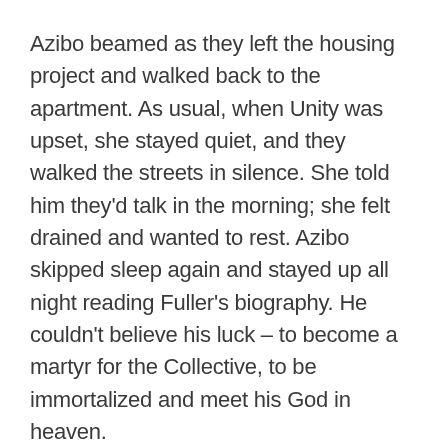Azibo beamed as they left the housing project and walked back to the apartment. As usual, when Unity was upset, she stayed quiet, and they walked the streets in silence. She told him they'd talk in the morning; she felt drained and wanted to rest. Azibo skipped sleep again and stayed up all night reading Fuller's biography. He couldn't believe his luck – to become a martyr for the Collective, to be immortalized and meet his God in heaven.
During his prayers that night, he took off his belt and, like he did every so often, whipped his back